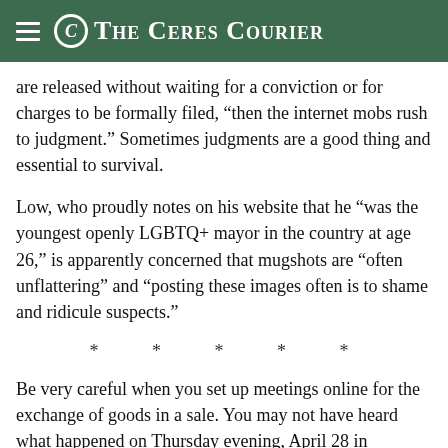The Ceres Courier
are released without waiting for a conviction or for charges to be formally filed, “then the internet mobs rush to judgment.” Sometimes judgments are a good thing and essential to survival.
Low, who proudly notes on his website that he “was the youngest openly LGBTQ+ mayor in the country at age 26,” is apparently concerned that mugshots are “often unflattering” and “posting these images often is to shame and ridicule suspects.”
* * * * *
Be very careful when you set up meetings online for the exchange of goods in a sale. You may not have heard what happened on Thursday evening, April 28 in downtown Ceres. During a “sale” encounter at 9:52 p.m. the pretend buyer whipped out a handgun